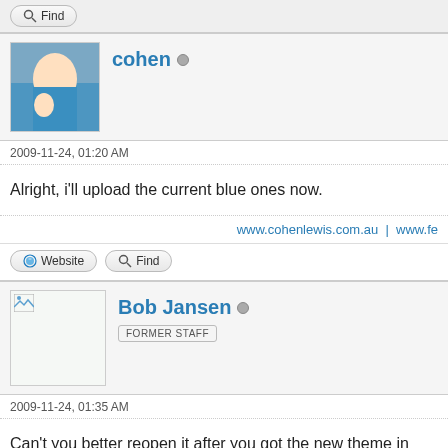Find
[Figure (photo): Profile photo of user 'cohen' showing a person in a blue shirt]
cohen (offline indicator)
2009-11-24, 01:20 AM
Alright, i'll upload the current blue ones now.
www.cohenlewis.com.au | www.f...
Website   Find
[Figure (photo): Broken/placeholder image for user Bob Jansen]
Bob Jansen (offline indicator)
FORMER STAFF
2009-11-24, 01:35 AM
Can't you better reopen it after you got the new theme in orde...